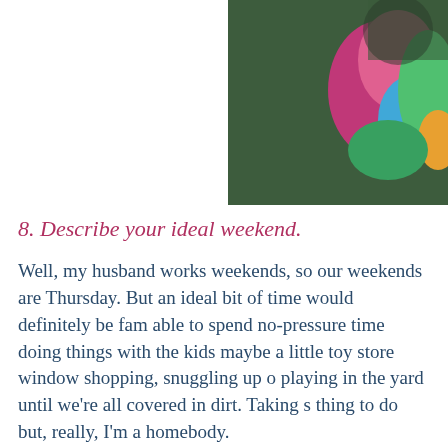[Figure (photo): Photo of a child in a colorful floral outfit, partially visible, with dark background]
8. Describe your ideal weekend.
Well, my husband works weekends, so our weekends are Thursday. But an ideal bit of time would definitely be family time, being able to spend no-pressure time doing things with the kids — maybe a little toy store window shopping, snuggling up on the couch, playing in the yard until we're all covered in dirt. Taking s[trips is a nice] thing to do but, really, I'm a homebody.
9. What other activities do you enjoy?
Hanging out with my kids. Reading, though I don't seem